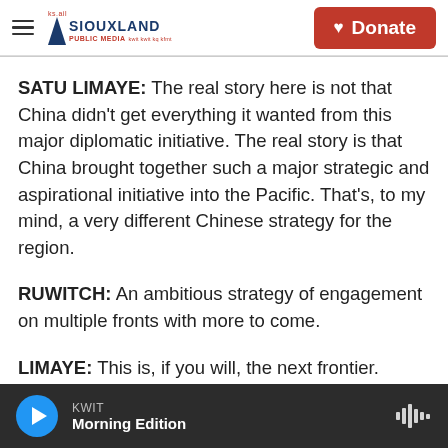Siouxland Public Media – KWIT – Donate
SATU LIMAYE: The real story here is not that China didn't get everything it wanted from this major diplomatic initiative. The real story is that China brought together such a major strategic and aspirational initiative into the Pacific. That's, to my mind, a very different Chinese strategy for the region.
RUWITCH: An ambitious strategy of engagement on multiple fronts with more to come.
LIMAYE: This is, if you will, the next frontier. We've
KWIT Morning Edition